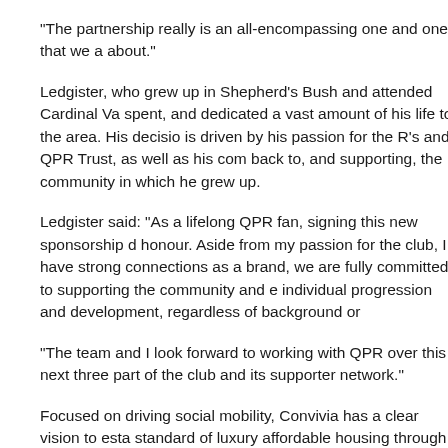“The partnership really is an all-encompassing one and one that we a about.”
Ledgister, who grew up in Shepherd’s Bush and attended Cardinal Va spent, and dedicated a vast amount of his life to the area. His decisio is driven by his passion for the R’s and QPR Trust, as well as his com back to, and supporting, the community in which he grew up.
Ledgister said: “As a lifelong QPR fan, signing this new sponsorship d honour. Aside from my passion for the club, I have strong connections as a brand, we are fully committed to supporting the community and e individual progression and development, regardless of background or
“The team and I look forward to working with QPR over this next three part of the club and its supporter network.”
Focused on driving social mobility, Convivia has a clear vision to esta standard of luxury affordable housing through a unique procurement m design methodology.
Already working closely with Local Authorities and established Housin across the country, the brand is committed to ensuring its Homes bec with positive change.